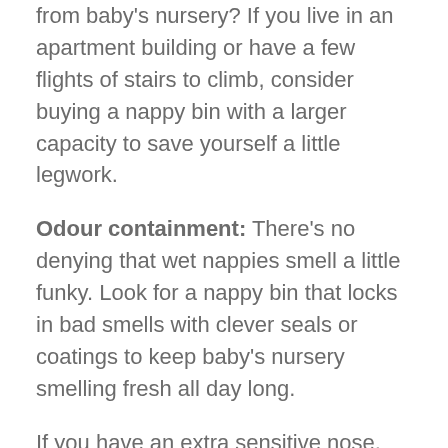from baby's nursery? If you live in an apartment building or have a few flights of stairs to climb, consider buying a nappy bin with a larger capacity to save yourself a little legwork.
Odour containment: There's no denying that wet nappies smell a little funky. Look for a nappy bin that locks in bad smells with clever seals or coatings to keep baby's nursery smelling fresh all day long.
If you have an extra sensitive nose, fear not, we've found this neat little odour trapper that you simply tape to the inside top of the bin. Check it out at the end of this roundup.